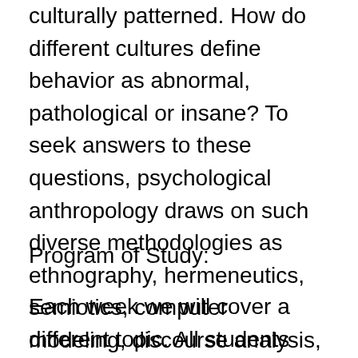culturally patterned. How do different cultures define behavior as abnormal, pathological or insane? To seek answers to these questions, psychological anthropology draws on such diverse methodologies as ethnography, hermeneutics, semiotics, computer modeling, discourse analysis, life histories and cross-cultural comparison.
Program of Study:
Each week we will cover a different topic. All students must do the required reading and keep a journal of their reactions to the material. Ideas for reflection will be supplied by the